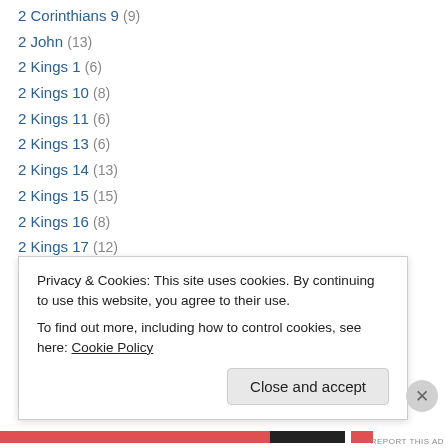2 Corinthians 9 (9)
2 John (13)
2 Kings 1 (6)
2 Kings 10 (8)
2 Kings 11 (6)
2 Kings 13 (6)
2 Kings 14 (13)
2 Kings 15 (15)
2 Kings 16 (8)
2 Kings 17 (12)
2 Kings 18 (19)
2 Kings 19 (12)
2 Kings 2 (21)
2 Kings 20 (12)
Privacy & Cookies: This site uses cookies. By continuing to use this website, you agree to their use.
To find out more, including how to control cookies, see here: Cookie Policy